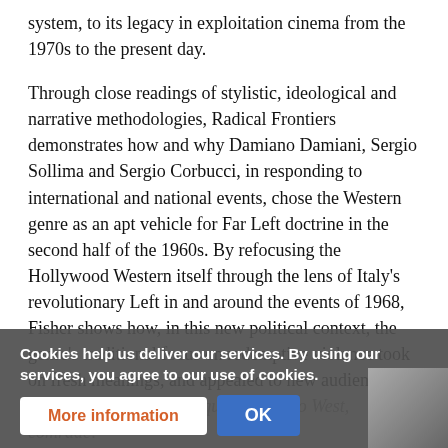system, to its legacy in exploitation cinema from the 1970s to the present day.

Through close readings of stylistic, ideological and narrative methodologies, Radical Frontiers demonstrates how and why Damiano Damiani, Sergio Sollima and Sergio Corbucci, in responding to international and national events, chose the Western genre as an apt vehicle for Far Left doctrine in the second half of the 1960s. By refocusing the Hollywood Western itself through the lens of Italy's revolutionary Left in and around the events of 1968, Fisher shows how, in this new political context, the genre's traditional focus on redemptive violence took on fresh meanings, and appealed to new audiences. As Horace Greeley did not quite say: "Go West, comrade!"
Cookies help us deliver our services. By using our services, you agree to our use of cookies.
More information
OK